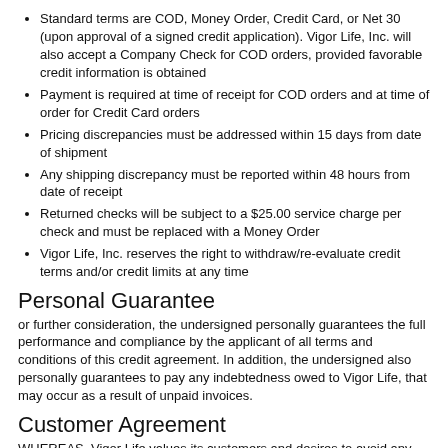Standard terms are COD, Money Order, Credit Card, or Net 30 (upon approval of a signed credit application). Vigor Life, Inc. will also accept a Company Check for COD orders, provided favorable credit information is obtained
Payment is required at time of receipt for COD orders and at time of order for Credit Card orders
Pricing discrepancies must be addressed within 15 days from date of shipment
Any shipping discrepancy must be reported within 48 hours from date of receipt
Returned checks will be subject to a $25.00 service charge per check and must be replaced with a Money Order
Vigor Life, Inc. reserves the right to withdraw/re-evaluate credit terms and/or credit limits at any time
Personal Guarantee
or further consideration, the undersigned personally guarantees the full performance and compliance by the applicant of all terms and conditions of this credit agreement. In addition, the undersigned also personally guarantees to pay any indebtedness owed to Vigor Life, that may occur as a result of unpaid invoices.
Customer Agreement
WHEREAS, Vigor Life values its customers and desires to avoid any and all misunderstandings between them and itself regarding the terms and obligations of orders by its customers; and WHEREAS, specific acknowledgement of agreement to these terms and obligations should eliminate potential future problems in this regard.
WHEREFORE, Vigor Life and the undersigned (hereinafter the "Customer") do hereby agree as follows: